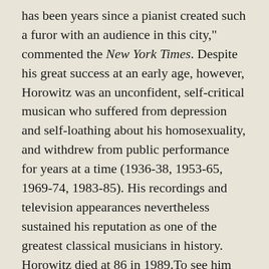has been years since a pianist created such a furor with an audience in this city," commented the New York Times. Despite his great success at an early age, however, Horowitz was an unconfident, self-critical musican who suffered from depression and self-loathing about his homosexuality, and withdrew from public performance for years at a time (1936-38, 1953-65, 1969-74, 1983-85). His recordings and television appearances nevertheless sustained his reputation as one of the greatest classical musicians in history. Horowitz died at 86 in 1989.To see him playing Chopin for seven minutes, look below.
"I take terrible risks. Because my playing is very clear, when I make a mistake you hear it. If you want me to play only the notes without any specific